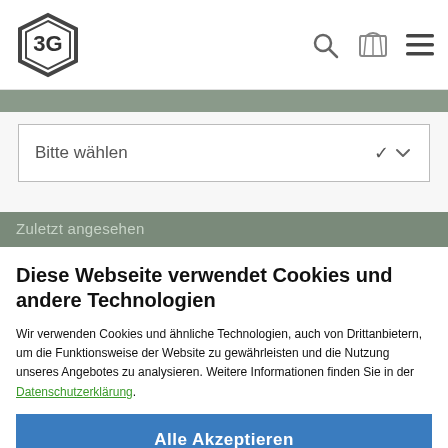[Figure (logo): 3G logo in hexagonal badge shape]
[Figure (other): Search, cart, and hamburger menu icons in header]
Bitte wählen
Zuletzt angesehen
Diese Webseite verwendet Cookies und andere Technologien
Wir verwenden Cookies und ähnliche Technologien, auch von Drittanbietern, um die Funktionsweise der Website zu gewährleisten und die Nutzung unseres Angebotes zu analysieren. Weitere Informationen finden Sie in der Datenschutzerklärung.
Alle Akzeptieren
Weitere Informationen